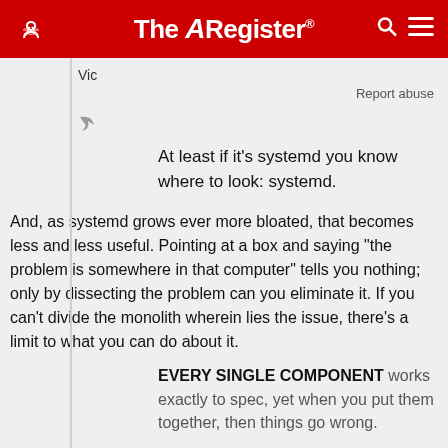The Register
Vic
Report abuse
At least if it's systemd you know where to look: systemd.
And, as systemd grows ever more bloated, that becomes less and less useful. Pointing at a box and saying "the problem is somewhere in that computer" tells you nothing; only by dissecting the problem can you eliminate it. If you can't divide the monolith wherein lies the issue, there's a limit to what you can do about it.
EVERY SINGLE COMPONENT works exactly to spec, yet when you put them together, then things go wrong.